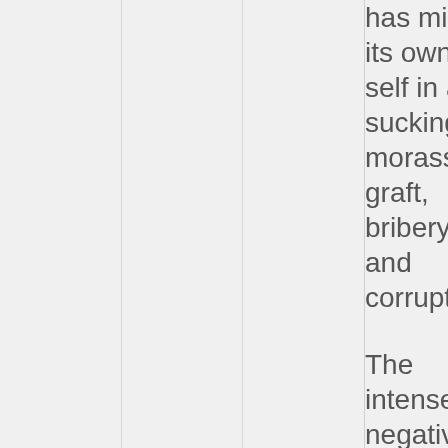has mired its own self in a sucking morass of graft, bribery, and corruption.

The intensely negative economic arc of either country is simple